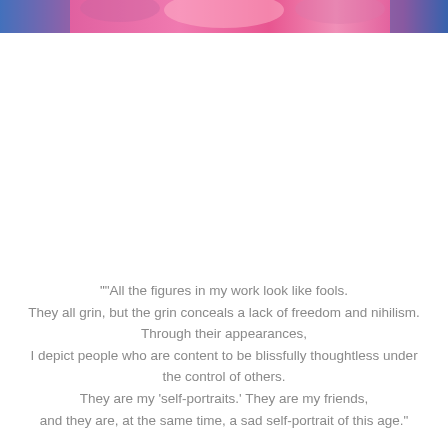[Figure (photo): Cropped top portion of a colorful artwork or photograph showing pink and blue tones, partially visible at the top of the page.]
"'All the figures in my work look like fools. They all grin, but the grin conceals a lack of freedom and nihilism. Through their appearances, I depict people who are content to be blissfully thoughtless under the control of others. They are my 'self-portraits.' They are my friends, and they are, at the same time, a sad self-portrait of this age."